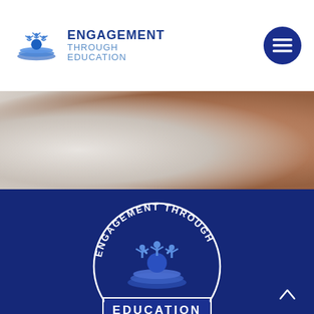ENGAGEMENT THROUGH EDUCATION
[Figure (logo): Engagement Through Education logo in header with book and people icon, and hamburger menu button]
[Figure (photo): Close-up blurred photo of person's arm/skin, white and skin-tone colors]
[Figure (logo): Engagement Through Education circular seal logo on dark navy blue background with EDUCATION banner at bottom]